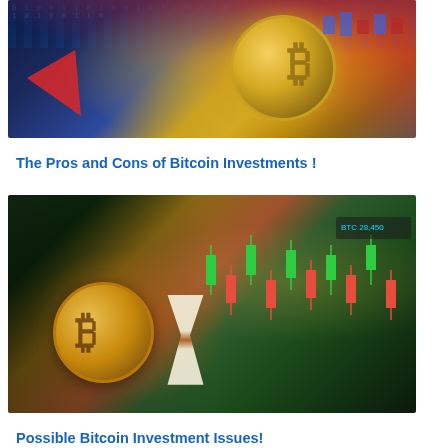[Figure (photo): Bitcoin gold coin with a downward red arrow overlaid on a dark blue binary code background, illustrating cryptocurrency decline]
The Pros and Cons of Bitcoin Investments !
[Figure (photo): Bitcoin gold coin standing upright next to an hourglass on a smartphone displaying a green and red candlestick trading chart]
Possible Bitcoin Investment Issues!